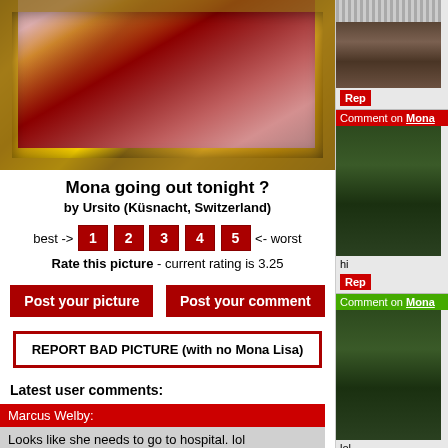[Figure (photo): Main artwork image in ornate gold frame showing a painting with red tones, partially visible figure]
Mona going out tonight ?
by Ursito (Küsnacht, Switzerland)
best -> 1 2 3 4 5 <- worst
Rate this picture - current rating is 3.25
Post your picture  Post your comment
REPORT BAD PICTURE (with no Mona Lisa)
Latest user comments:
Marcus Welby:
Looks like she needs to go to hospital. lol
Show all comments
[Figure (photo): Small thumbnail of couple painting in right sidebar]
Rep
Comment on Mona
[Figure (photo): Small thumbnail of Mona Lisa painting - comment section]
hi
Rep
Comment on Mona
[Figure (photo): Small thumbnail of Mona Lisa painting - second comment section]
lol
Rep
Comment on Mona
[Figure (photo): Small thumbnail of Mona Lisa painting - third comment section]
hi
Rep